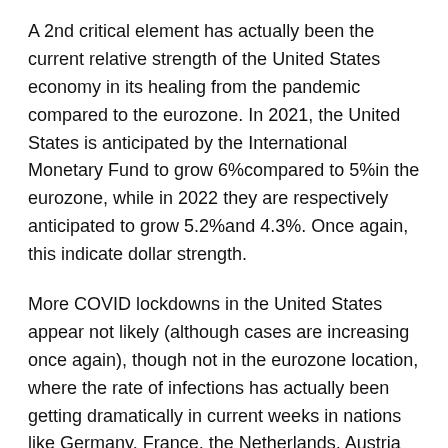A 2nd critical element has actually been the current relative strength of the United States economy in its healing from the pandemic compared to the eurozone. In 2021, the United States is anticipated by the International Monetary Fund to grow 6%compared to 5%in the eurozone, while in 2022 they are respectively anticipated to grow 5.2%and 4.3%. Once again, this indicate dollar strength.
More COVID lockdowns in the United States appear not likely (although cases are increasing once again), though not in the eurozone location, where the rate of infections has actually been getting dramatically in current weeks in nations like Germany, France, the Netherlands, Austria and Belgium. Austria is now back in lockdown, and other eurozone nations might do the same.
A last chauffeur of the current strength of the dollar is higher